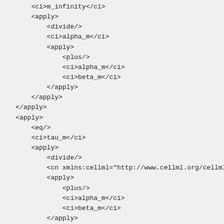<ci>m_infinity</ci>
    <apply>
        <divide/>
        <ci>alpha_m</ci>
        <apply>
            <plus/>
            <ci>alpha_m</ci>
            <ci>beta_m</ci>
        </apply>
    </apply>
</apply>
<apply>
    <eq/>
    <ci>tau_m</ci>
    <apply>
        <divide/>
        <cn xmlns:cellml="http://www.cellml.org/cellml/1.0
        <apply>
            <plus/>
            <ci>alpha_m</ci>
            <ci>beta_m</ci>
        </apply>
    </apply>
</apply>
<apply>
    <eq/>
    <apply>
        <diff/>
        <bvar